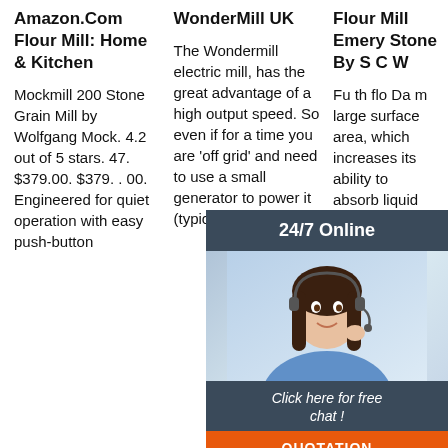Amazon.Com Flour Mill: Home & Kitchen
Mockmill 200 Stone Grain Mill by Wolfgang Mock. 4.2 out of 5 stars. 47. $379.00. $379. . 00. Engineered for quiet operation with easy push-button
WonderMill UK
The Wondermill electric mill, has the great advantage of a high output speed. So even if for a time you are 'off grid' and need to use a small generator to power it (typically
Flour Mill Emery Stone By S C W
Fu th flo Da m large surface area, which increases its ability to absorb liquid
[Figure (infographic): 24/7 Online chat widget with a woman wearing a headset. Header says '24/7 Online'. Bottom section has dark background with text 'Click here for free chat !' and an orange button labeled 'QUOTATION'.]